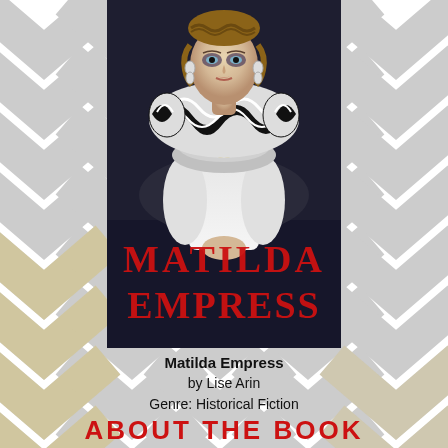[Figure (illustration): Book cover for 'Matilda Empress' by Lise Arin showing a woman with braided hair, dramatic makeup, wearing an ornate patterned collar/ruff and white dress, with 'MATILDA EMPRESS' in large red serif letters overlaid on the image. Background has gray and gold chevron (zigzag) pattern.]
Matilda Empress
by Lise Arin
Genre: Historical Fiction
ABOUT THE BOOK